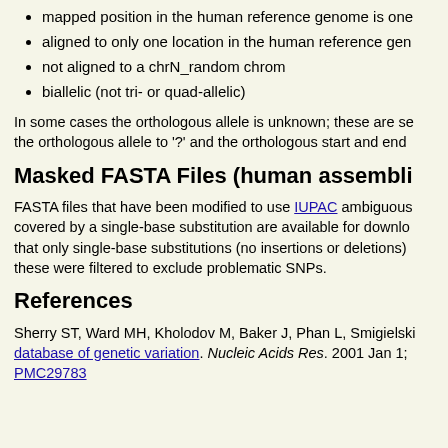mapped position in the human reference genome is one
aligned to only one location in the human reference gen
not aligned to a chrN_random chrom
biallelic (not tri- or quad-allelic)
In some cases the orthologous allele is unknown; these are se the orthologous allele to '?' and the orthologous start and end
Masked FASTA Files (human assembli
FASTA files that have been modified to use IUPAC ambiguous covered by a single-base substitution are available for downlo that only single-base substitutions (no insertions or deletions) these were filtered to exclude problematic SNPs.
References
Sherry ST, Ward MH, Kholodov M, Baker J, Phan L, Smigielski database of genetic variation. Nucleic Acids Res. 2001 Jan 1; PMC29783